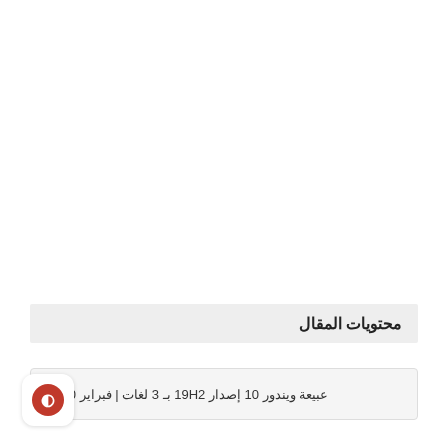محتويات المقال
عبيعة ويندور 10 إصدار 19H2 بـ 3 لغات | فبراير 2020